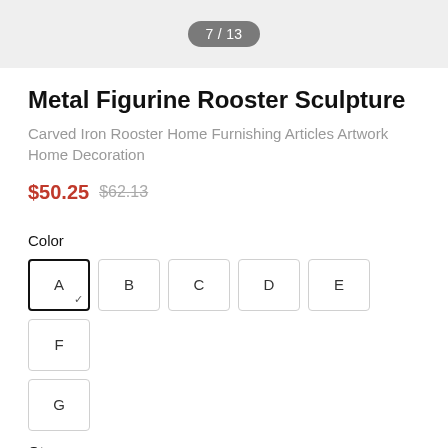7 / 13
Metal Figurine Rooster Sculpture
Carved Iron Rooster Home Furnishing Articles Artwork Home Decoration
$50.25  $62.13
Color
A B C D E F G
Qty